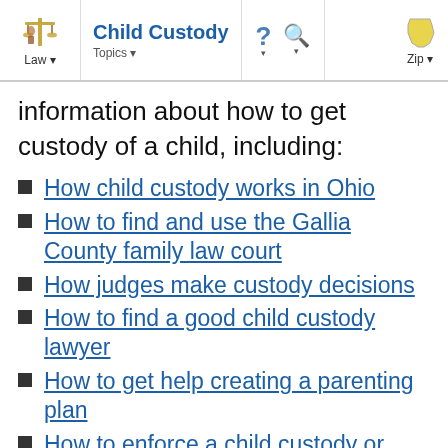Child Custody | Law | Topics | ? | Search | Zip
information about how to get custody of a child, including:
How child custody works in Ohio
How to find and use the Gallia County family law court
How judges make custody decisions
How to find a good child custody lawyer
How to get help creating a parenting plan
How to enforce a child custody or